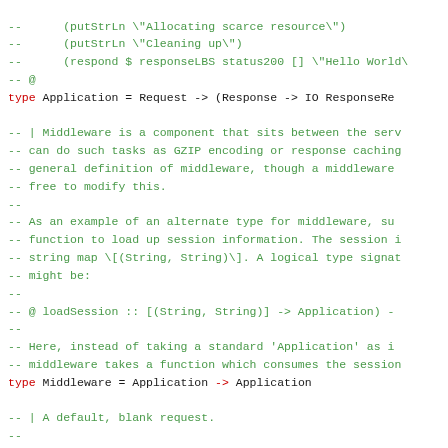Code snippet showing Haskell source code with comments about Application, Middleware types and defaultRequest definition